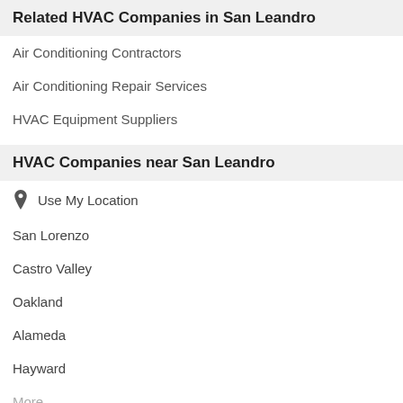Related HVAC Companies in San Leandro
Air Conditioning Contractors
Air Conditioning Repair Services
HVAC Equipment Suppliers
HVAC Companies near San Leandro
Use My Location
San Lorenzo
Castro Valley
Oakland
Alameda
Hayward
More...